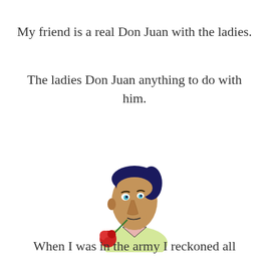My friend is a real Don Juan with the ladies.
The ladies Don Juan anything to do with him.
[Figure (illustration): Cartoon illustration of a man with dark blue hair holding a red rose in his mouth, wearing a light yellow top, with exaggerated facial features in a caricature style.]
When I was in the army I reckoned all